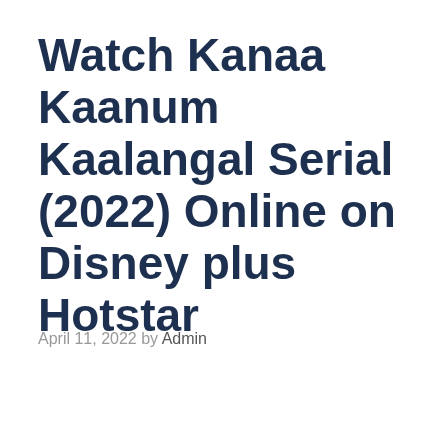Watch Kanaa Kaanum Kaalangal Serial (2022) Online on Disney plus Hotstar
April 11, 2022 by Admin